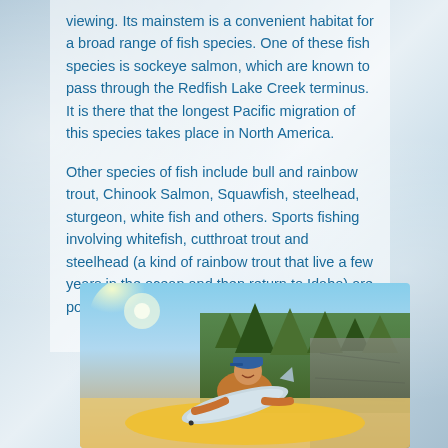viewing. Its mainstem is a convenient habitat for a broad range of fish species. One of these fish species is sockeye salmon, which are known to pass through the Redfish Lake Creek terminus. It is there that the longest Pacific migration of this species takes place in North America.

Other species of fish include bull and rainbow trout, Chinook Salmon, Squawfish, steelhead, sturgeon, white fish and others. Sports fishing involving whitefish, cutthroat trout and steelhead (a kind of rainbow trout that live a few years in the ocean and then return to Idaho) are popular among the residents along the river.
[Figure (photo): A person holding a large fish, smiling, outdoors near a river with trees and rocky terrain in the background. The person is wearing a blue cap and appears to be on a boat or raft.]